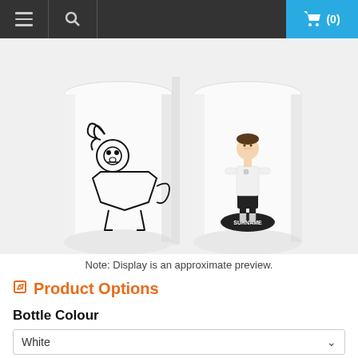Navigation bar with hamburger menu, search icon, and cart (0)
[Figure (photo): Two white water bottles on a light grey background. The left bottle shows the Derby County ram logo in black outline. The right bottle shows a Subbuteo-style footballer figurine in white kit with black shorts, standing on a base labeled SURNAME.]
Note: Display is an approximate preview.
Product Options
Bottle Colour
White